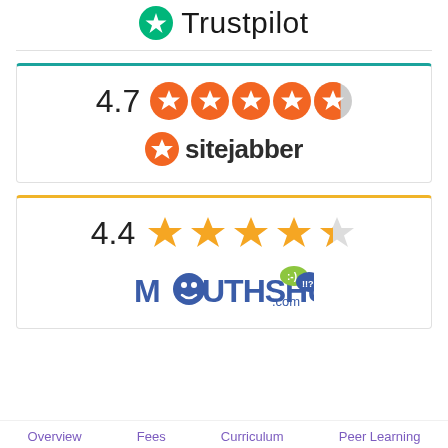[Figure (logo): Trustpilot logo with green star and text]
[Figure (infographic): Sitejabber rating card: 4.7 with 5 orange circle stars (4 full, 1 partial) and Sitejabber logo]
[Figure (infographic): MouthShut.com rating card: 4.4 with 5 yellow stars (4 full, 1 partial) and MouthShut.com logo]
Overview   Fees   Curriculum   Peer Learning